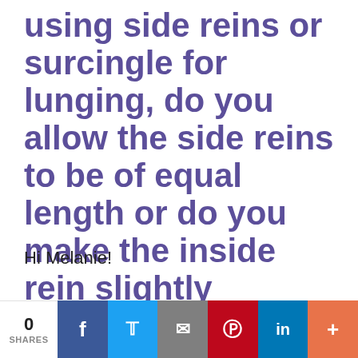using side reins or surcingle for lunging, do you allow the side reins to be of equal length or do you make the inside rein slightly shorter? (Melanie)
Hi Melanie!
This is an age old question that
0 SHARES | Facebook | Twitter | Email | Pinterest | LinkedIn | +